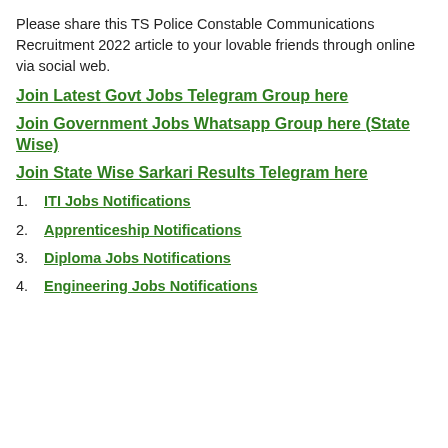Please share this TS Police Constable Communications Recruitment 2022 article to your lovable friends through online via social web.
Join Latest Govt Jobs Telegram Group here
Join Government Jobs Whatsapp Group here (State Wise)
Join State Wise Sarkari Results Telegram here
1. ITI Jobs Notifications
2. Apprenticeship Notifications
3. Diploma Jobs Notifications
4. Engineering Jobs Notifications